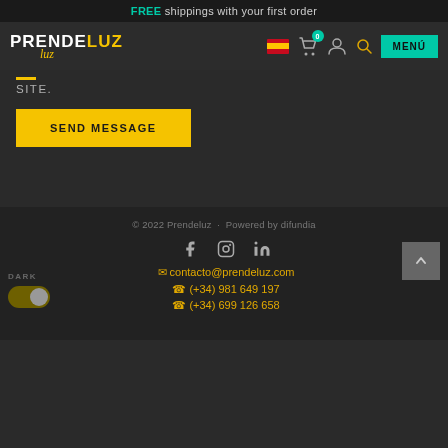FREE shippings with your first order
[Figure (logo): Prendeluz logo — white bold PRENDE with yellow LUZ text and yellow cursive underline]
SITE.
SEND MESSAGE
© 2022 Prendeluz · Powered by difundia
contacto@prendeluz.com
(+34) 981 649 197
(+34) 699 126 658